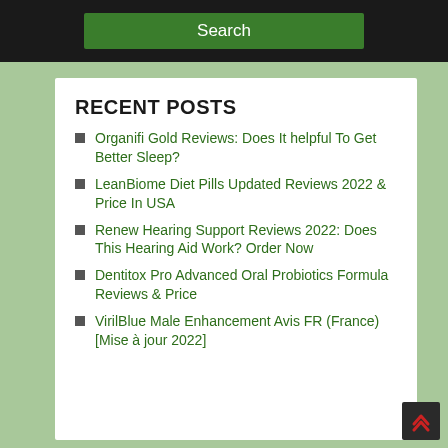Search
RECENT POSTS
Organifi Gold Reviews: Does It helpful To Get Better Sleep?
LeanBiome Diet Pills Updated Reviews 2022 & Price In USA
Renew Hearing Support Reviews 2022: Does This Hearing Aid Work? Order Now
Dentitox Pro Advanced Oral Probiotics Formula Reviews & Price
VirilBlue Male Enhancement Avis FR (France) [Mise à jour 2022]